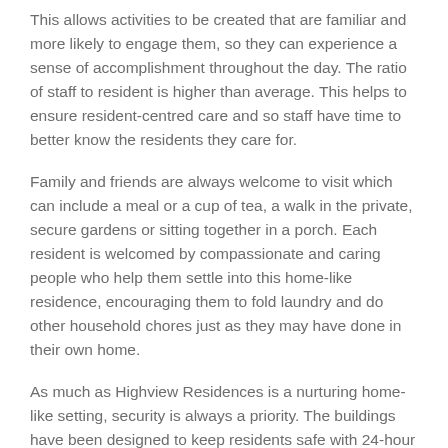This allows activities to be created that are familiar and more likely to engage them, so they can experience a sense of accomplishment throughout the day. The ratio of staff to resident is higher than average. This helps to ensure resident-centred care and so staff have time to better know the residents they care for.
Family and friends are always welcome to visit which can include a meal or a cup of tea, a walk in the private, secure gardens or sitting together in a porch. Each resident is welcomed by compassionate and caring people who help them settle into this home-like residence, encouraging them to fold laundry and do other household chores just as they may have done in their own home.
As much as Highview Residences is a nurturing home-like setting, security is always a priority. The buildings have been designed to keep residents safe with 24-hour staffing.